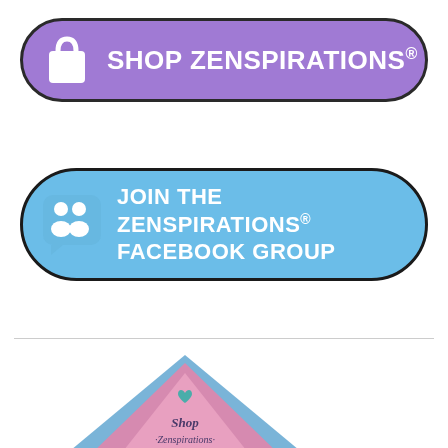[Figure (illustration): Purple pill-shaped button with shopping bag icon and text SHOP ZENSPIRATIONS®]
[Figure (illustration): Blue pill-shaped button with group/Facebook icon and text JOIN THE ZENSPIRATIONS® FACEBOOK GROUP]
[Figure (logo): Zenspirations logo — decorative triangular tent/teepee shape in pink and blue with text Shop Zenspirations at the bottom, partially visible]